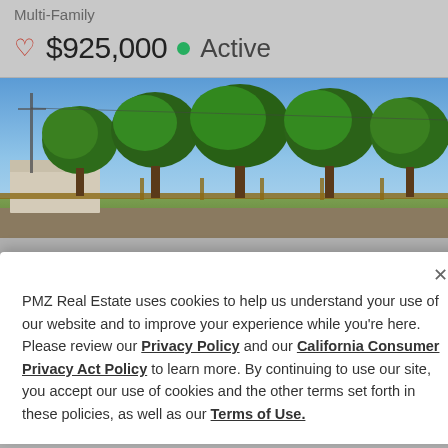Multi-Family
♡ $925,000 ● Active
[Figure (photo): Exterior photo of a multi-family property with a row of large green trees lining a wooden fence, a white building visible on the left, blue sky above]
PMZ Real Estate uses cookies to help us understand your use of our website and to improve your experience while you're here. Please review our Privacy Policy and our California Consumer Privacy Act Policy to learn more. By continuing to use our site, you accept our use of cookies and the other terms set forth in these policies, as well as our Terms of Use.